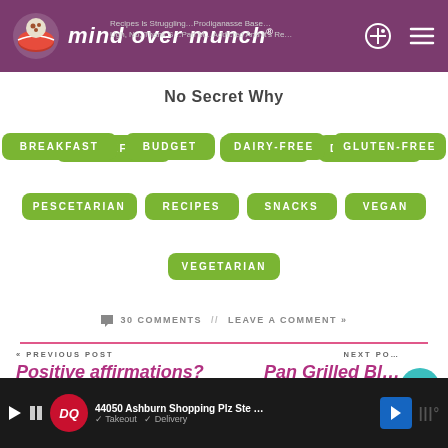mind over munch
No Secret Why
BREAKFAST
BUDGET
DAIRY-FREE
GLUTEN-FREE
PESCETARIAN
RECIPES
SNACKS
VEGAN
VEGETARIAN
30 COMMENTS // LEAVE A COMMENT »
« PREVIOUS POST
Positive affirmations? No, thank you!
NEXT POST
Pan Grilled Bl… Chicken for C… BBQ Salad Bo…
[Figure (screenshot): Dairy Queen ad bar at bottom: DQ logo, 44050 Ashburn Shopping Plz Ste ..., Takeout / Delivery]